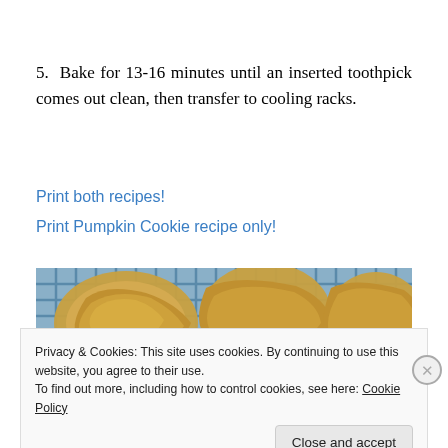5.  Bake for 13-16 minutes until an inserted toothpick comes out clean, then transfer to cooling racks.
Print both recipes!
Print Pumpkin Cookie recipe only!
[Figure (photo): Pumpkin cookies cooling on a wire rack, golden-brown in color.]
Privacy & Cookies: This site uses cookies. By continuing to use this website, you agree to their use.
To find out more, including how to control cookies, see here: Cookie Policy
Close and accept